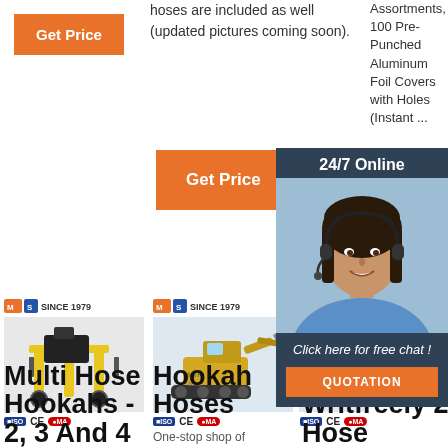[Figure (screenshot): Orange Get Price button, top left]
hoses are included as well (updated pictures coming soon).
Assortments, 100 Pre-Punched Aluminum Foil Covers with Holes (Instant ...
[Figure (screenshot): Orange Get Price button, center]
[Figure (screenshot): Partial orange G button, right side]
[Figure (photo): 24/7 Online chat banner with woman wearing headset, Click here for free chat, QUOTATION button]
[Figure (photo): MLG Since 1979 logo and yellow industrial multi-hose hookah machine on wheeled frame]
[Figure (photo): MLG Since 1979 logo and yellow mini excavator]
[Figure (photo): MLG Since 1979 logo and third product (partially covered by chat banner)]
Multi Hose Hookahs - 2, 3 And 4
Hookah Hoses
One-stop shop of
Amazon.Co Writfreely 2 Hose
[Figure (logo): Amazon TOP badge logo overlay]